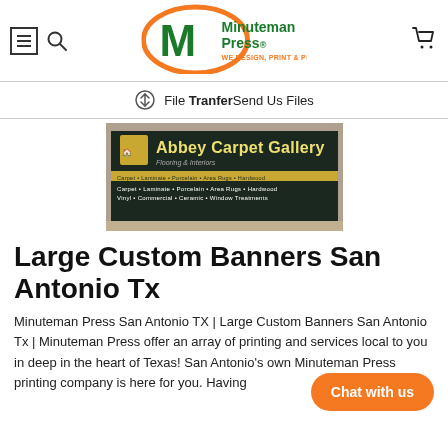[Figure (logo): Minuteman Press logo with orange oval, green M icon, and green text 'Minuteman Press' with orange tagline 'WE DESIGN, PRINT & PROMOTE...YOU!']
File Transfer Send Us Files
[Figure (photo): Photo of a large outdoor banner for Abbey Carpet Gallery showing 'Flooring & Interiors' and listing products: Carpet, Laminate, Porcelain, Area Rugs, Hardwood, Vinyl, Commercial, Ceramic, Window Treatments]
Large Custom Banners San Antonio Tx
Minuteman Press San Antonio TX | Large Custom Banners San Antonio Tx | Minuteman Press offer an array of printing and services local to you in deep in the heart of Texas! San Antonio's own Minuteman Press printing company is here for you. Having